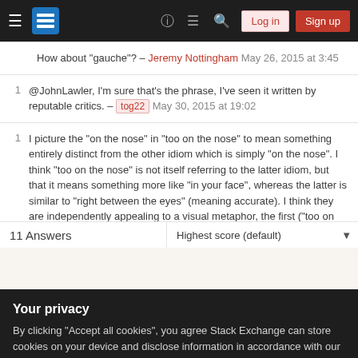Stack Exchange navigation bar with Log in and Sign up buttons
How about "gauche"? – Jeremy Nottingham May 26, 2015 at 3:45
1 @JohnLawler, I'm sure that's the phrase, I've seen it written by reputable critics. – tog22 May 30, 2015 at 19:02
1 I picture the "on the nose" in "too on the nose" to mean something entirely distinct from the other idiom which is simply "on the nose". I think "too on the nose" is not itself referring to the latter idiom, but that it means something more like "in your face", whereas the latter is similar to "right between the eyes" (meaning accurate). I think they are independently appealing to a visual metaphor, the first ("too on the nose") with unwelcome proximity to the face, and the
Your privacy
By clicking "Accept all cookies", you agree Stack Exchange can store cookies on your device and disclose information in accordance with our Cookie Policy.
Accept all cookies   Customize settings
11 Answers   Highest score (default)